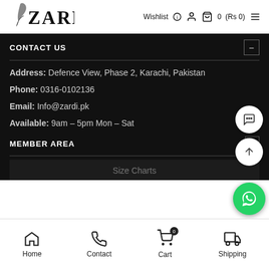[Figure (logo): Zardi brand logo with stylized feather/pen icon and text ZARDI]
Wishlist  0  (Rs 0)
CONTACT US
Address: Defence View, Phase 2, Karachi, Pakistan
Phone: 0316-0102136
Email: Info@zardi.pk
Available: 9am – 5pm Mon – Sat
MEMBER AREA
Size Charts
Home  Contact  Cart  Shipping